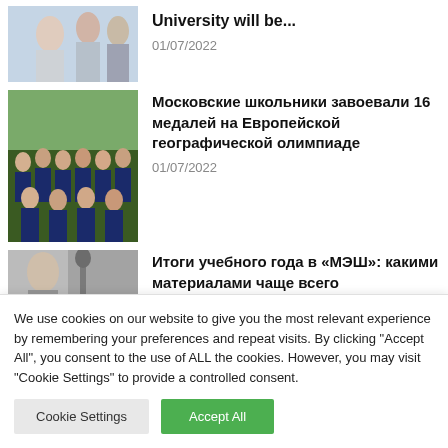[Figure (photo): Students studying together, partial crop at top]
University will be...
01/07/2022
[Figure (photo): Group of students in dark uniforms posing outdoors]
Московские школьники завоевали 16 медалей на Европейской географической олимпиаде
01/07/2022
[Figure (photo): Person with microphone or equipment, partial crop]
Итоги учебного года в «МЭШ»: какими материалами чаще всего
We use cookies on our website to give you the most relevant experience by remembering your preferences and repeat visits. By clicking "Accept All", you consent to the use of ALL the cookies. However, you may visit "Cookie Settings" to provide a controlled consent.